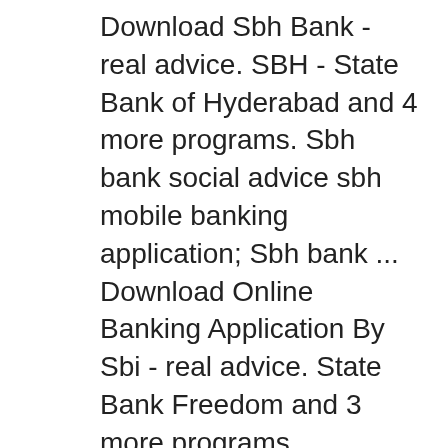Download Sbh Bank - real advice. SBH - State Bank of Hyderabad and 4 more programs. Sbh bank social advice sbh mobile banking application; Sbh bank ... Download Online Banking Application By Sbi - real advice. State Bank Freedom and 3 more programs.
You could download Freedom mobile application of State Bank of India to your mobile phones.SBI freedom mobile Banking application allows you to ... Mobile Banking: Go Mobile+ App (Android and iOS You will have to download the application on Do I need to de-register the old Mobile Banking application in